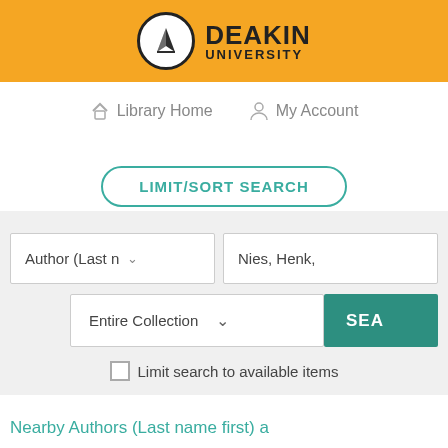[Figure (logo): Deakin University logo on orange header bar with black shield icon and university name]
Library Home
My Account
LIMIT/SORT SEARCH
[Figure (screenshot): Search form with Author (Last name) dropdown and Nies, Henk, input field, Entire Collection dropdown, and SEARCH button]
Limit search to available items
Nearby Authors (Last name first) a